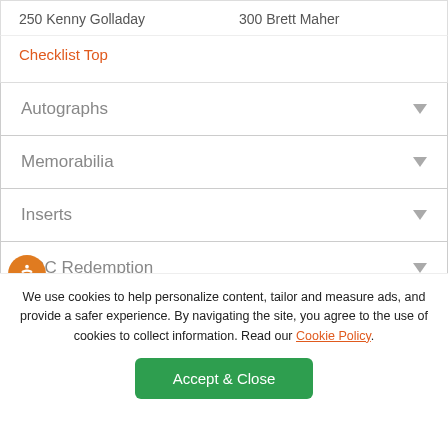250 Kenny Golladay    300 Brett Maher
Checklist Top
Autographs
Memorabilia
Inserts
XRC Redemption
Team Sets
We use cookies to help personalize content, tailor and measure ads, and provide a safer experience. By navigating the site, you agree to the use of cookies to collect information. Read our Cookie Policy.
Accept & Close